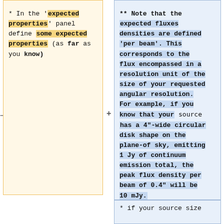* In the 'expected properties' panel define some expected properties (as far as you know)
** Note that the expected fluxes densities are defined 'per beam'. This corresponds to the flux encompassed in a resolution unit of the size of your requested angular resolution. For example, if you know that your source has a 4"-wide circular disk shape on the plane-of sky, emitting 1 Jy of continuum emission total, the peak flux density per beam of 0.4" will be 10 mJy.
* if your source size